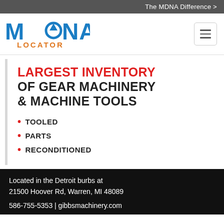The MDNA Difference >
[Figure (logo): MDNA Locator logo with blue and orange text]
LARGEST INVENTORY OF GEAR MACHINERY & MACHINE TOOLS
TOOLED
PARTS
RECONDITIONED
Located in the Detroit burbs at 21500 Hoover Rd, Warren, MI 48089
586-755-5353 | gibbsmachinery.com